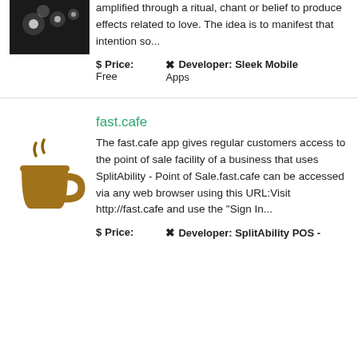[Figure (photo): Partial photo at top left corner, dark image with blurry bokeh lights]
amplified through a ritual, chant or belief to produce effects related to love. The idea is to manifest that intention so...
$ Price: Free   ✗ Developer: Sleek Mobile Apps
[Figure (illustration): Coffee cup icon with steam, brown color]
fast.cafe
The fast.cafe app gives regular customers access to the point of sale facility of a business that uses SplitAbility - Point of Sale.fast.cafe can be accessed via any web browser using this URL:Visit http://fast.cafe and use the "Sign In...
$ Price:   ✗ Developer: SplitAbility POS -